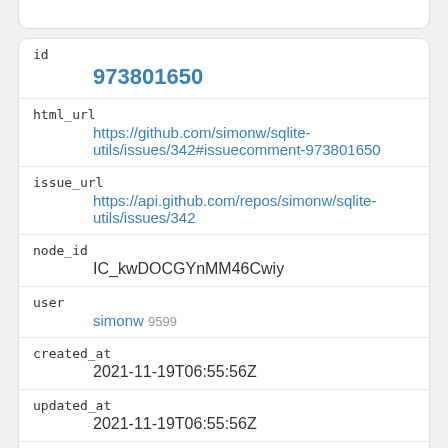| field | value |
| --- | --- |
| id | 973801650 |
| html_url | https://github.com/simonw/sqlite-utils/issues/342#issuecomment-973801650 |
| issue_url | https://api.github.com/repos/simonw/sqlite-utils/issues/342 |
| node_id | IC_kwDOCGYnMM46Cwiy |
| user | simonw 9599 |
| created_at | 2021-11-19T06:55:56Z |
| updated_at | 2021-11-19T06:55:56Z |
| author_association | OWNER |